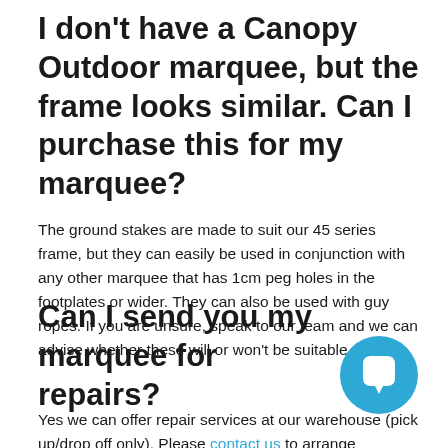I don't have a Canopy Outdoor marquee, but the frame looks similar. Can I purchase this for my marquee?
The ground stakes are made to suit our 45 series frame, but they can easily be used in conjunction with any other marquee that has 1cm peg holes in the footplates or wider. They can also be used with guy ropes. If you are unsure, speak to our team and we can advise whether these will or won't be suitable.
Can I send you my marquee for repairs?
[Figure (illustration): Blue circular chat/messenger button icon with white speech bubble symbol]
Yes we can offer repair services at our warehouse (pick up/drop off only). Please contact us to arrange estimated costs and a formal inspection.